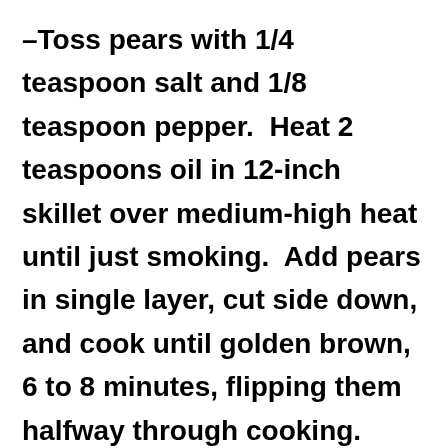–Toss pears with 1/4 teaspoon salt and 1/8 teaspoon pepper.  Heat 2 teaspoons oil in 12-inch skillet over medium-high heat until just smoking.  Add pears in single layer, cut side down, and cook until golden brown, 6 to 8 minutes, flipping them halfway through cooking.
–Turn off heat, leaving skillet on burner, and add 2 tablespoons vinegar to skillet.